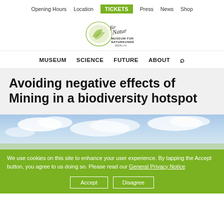Opening Hours  Location  TICKETS  Press  News  Shop
[Figure (logo): Museum für Naturkunde Berlin logo with stylized handwriting 'für Natur' and circular emblem]
MUSEUM  SCIENCE  FUTURE  ABOUT
Avoiding negative effects of Mining in a biodiversity hotspot
[Figure (photo): Landscape photo with blue sky and clouds, partially visible]
We use cookies on this site to enhance your user experience. By tapping the Accept button, you agree to us doing so. Please read our General Privacy Notice
Accept  Disagree